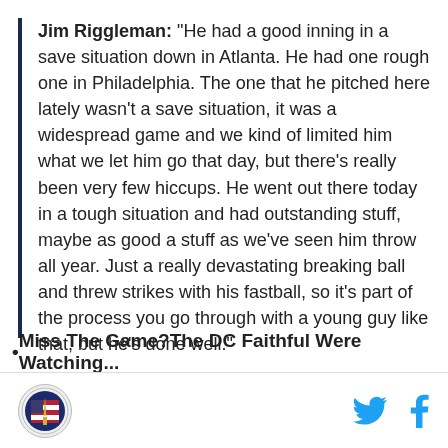Jim Riggleman: "He had a good inning in a save situation down in Atlanta. He had one rough one in Philadelphia. The one that he pitched here lately wasn't a save situation, it was a widespread game and we kind of limited him what we let him go that day, but there's really been very few hiccups. He went out there today in a tough situation and had outstanding stuff, maybe as good a stuff as we've seen him throw all year. Just a really devastating breaking ball and threw strikes with his fastball, so it's part of the process you go through with a young guy like that, but he's done well."
• Miss The Game?The DC Faithful Were Watching...
[Figure (logo): Circular logo with American flag and monument design]